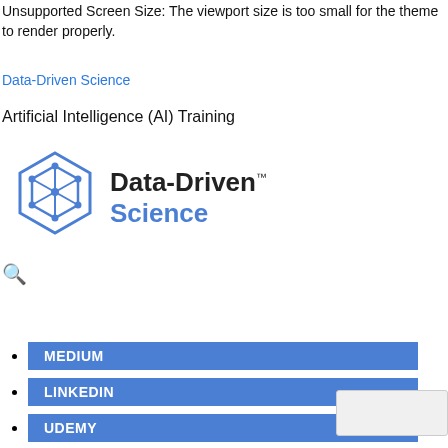Unsupported Screen Size: The viewport size is too small for the theme to render properly.
Data-Driven Science
Artificial Intelligence (AI) Training
[Figure (logo): Data-Driven Science logo: blue hexagon wireframe icon with the text 'Data-Driven Science' beside it, 'TM' superscript after 'Data-Driven']
[Figure (other): Search bar UI with a magnifying glass icon, text input field with placeholder 'Search', and a blue search button]
MEDIUM
LINKEDIN
UDEMY